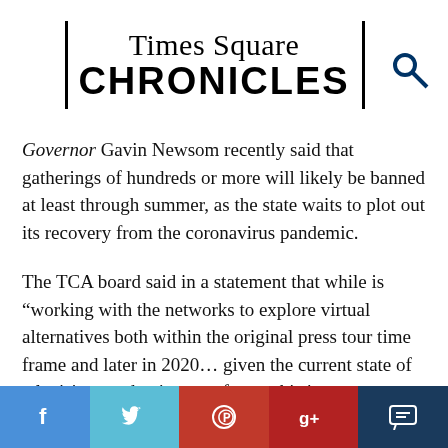Times Square CHRONICLES
Governor Gavin Newsom recently said that gatherings of hundreds or more will likely be banned at least through summer, as the state waits to plot out its recovery from the coronavirus pandemic.
The TCA board said in a statement that while is “working with the networks to explore virtual alternatives both within the original press tour time frame and later in 2020… given the current state of television production, as of now, this is a cancellation not a postponement.”
The cancellation of this year’s TCA summer press tour comes just weeks after the same fate befell the San Diego Comic-Con, which typically precedes the critics’
f  🐦  Ⓟ  g+  💬